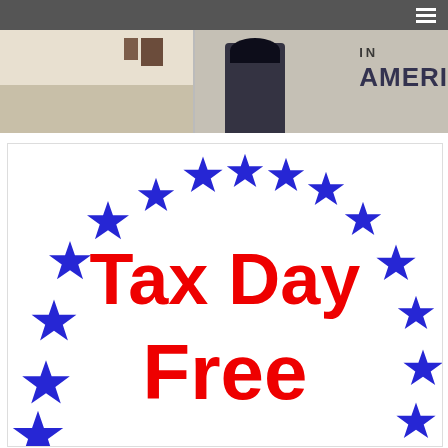[Figure (screenshot): Dark navigation bar with hamburger menu icon on right side]
[Figure (photo): Two photos side by side: left shows a room interior with walls, right shows a person in dark clothing with large text reading 'IN AMERI' (America partially visible)]
[Figure (illustration): White card with blue stars arranged in an arc/circle pattern around red bold text reading 'Tax Day Free']